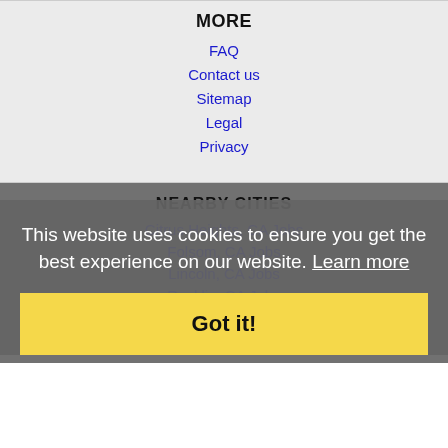MORE
FAQ
Contact us
Sitemap
Legal
Privacy
NEARBY CITIES
Citrus Heights, CA Jobs
Folsom, CA Jobs
Lincoln, CA Jobs
Rocklin, CA Jobs
Roseville, CA Jobs
Sparks, NV Jobs
This website uses cookies to ensure you get the best experience on our website. Learn more
Got it!